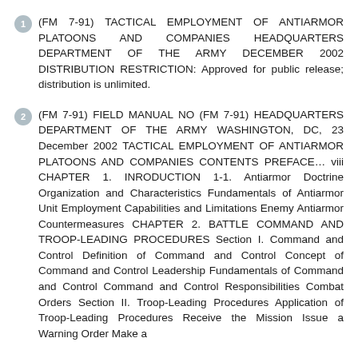(FM 7-91) TACTICAL EMPLOYMENT OF ANTIARMOR PLATOONS AND COMPANIES HEADQUARTERS DEPARTMENT OF THE ARMY DECEMBER 2002 DISTRIBUTION RESTRICTION: Approved for public release; distribution is unlimited.
(FM 7-91) FIELD MANUAL NO (FM 7-91) HEADQUARTERS DEPARTMENT OF THE ARMY WASHINGTON, DC, 23 December 2002 TACTICAL EMPLOYMENT OF ANTIARMOR PLATOONS AND COMPANIES CONTENTS PREFACE… viii CHAPTER 1. INRODUCTION 1-1. Antiarmor Doctrine Organization and Characteristics Fundamentals of Antiarmor Unit Employment Capabilities and Limitations Enemy Antiarmor Countermeasures CHAPTER 2. BATTLE COMMAND AND TROOP-LEADING PROCEDURES Section I. Command and Control Definition of Command and Control Concept of Command and Control Leadership Fundamentals of Command and Control Command and Control Responsibilities Combat Orders Section II. Troop-Leading Procedures Application of Troop-Leading Procedures Receive the Mission Issue a Warning Order Make a